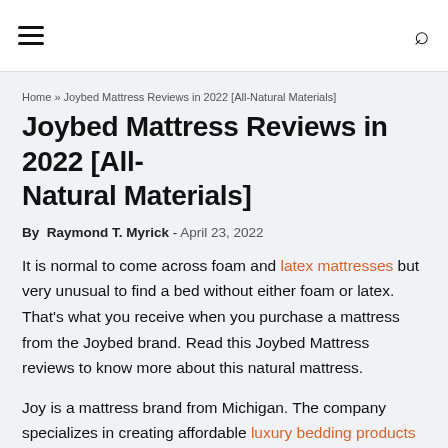≡  [navigation] [search icon]
Home » Joybed Mattress Reviews in 2022 [All-Natural Materials]
Joybed Mattress Reviews in 2022 [All-Natural Materials]
By Raymond T. Myrick - April 23, 2022
It is normal to come across foam and latex mattresses but very unusual to find a bed without either foam or latex. That's what you receive when you purchase a mattress from the Joybed brand. Read this Joybed Mattress reviews to know more about this natural mattress.
Joy is a mattress brand from Michigan. The company specializes in creating affordable luxury bedding products using organic materials. Aside from making mattresses, the